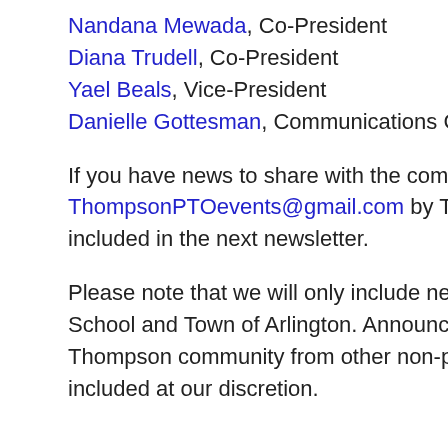Nandana Mewada, Co-President
Diana Trudell, Co-President
Yael Beals, Vice-President
Danielle Gottesman, Communications Chair
If you have news to share with the community, please email ThompsonPTOevents@gmail.com by Thursday at 12 noon to be included in the next newsletter.
Please note that we will only include news from the Thompson School and Town of Arlington. Announcements of interest to the Thompson community from other non-profit organizations may be included at our discretion.